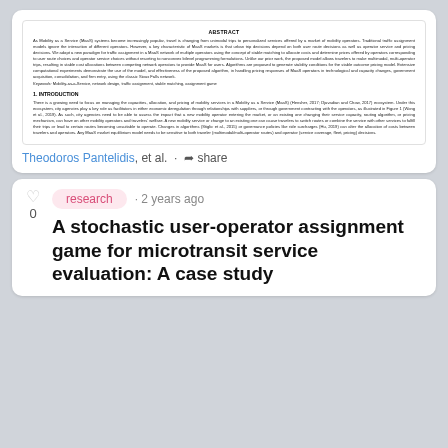ABSTRACT
As Mobility as a Service (MaaS) systems become increasingly popular, travel is changing from unimodal trips to personalized services offered by a market of mobility operators. Traditional traffic assignment models ignore the interaction of different operators. However, a key characteristic of MaaS markets is that urban trip decisions depend on both user route decisions as well as operator service and pricing decisions. We adopt a new paradigm for traffic assignment in a MaaS network of multiple operators using the concept of stable matching to allocate costs and determine prices offered by operators corresponding to user route choices and operator service choices without resorting to nonconvex bilevel programming formulations. Unlike our prior work, the proposed model allows travelers to make multimodal, multi-operator trips, resulting in stable cost allocations between competing network operators to provide MaaS for users. Algorithms are proposed to generate stability conditions for the stable outcome pricing model. Extensive computational experiments demonstrate the use of the model, and effectiveness of the proposed algorithm, in handling pricing responses of MaaS operators in technological and capacity changes, government acquisition, consolidation, and firm entry, using the classic Sioux Falls network.
Keywords: Mobility-as-a-Service, network design, traffic assignment, stable matching, assignment game
1. INTRODUCTION
There is a growing need to focus on managing the capacities, allocation, and pricing of mobility services in a Mobility as a Service (MaaS) (Hensher, 2017; Djavadian and Chow, 2017) ecosystem. Under this ecosystem, city agencies play a key role as facilitators in either economic deregulation through relationships with suppliers, or through government contracting with the operators, as illustrated in Figure 1 (Wong et al., 2019). As such, city agencies need to be able to assess the impact that a new mobility operator entering the market, or an existing one changing their service capacity, routing algorithm, or pricing mechanism, can have on other mobility operators and travelers' welfare. A new mobility service or change to an existing one can cause travelers to switch routes or combine the service with other services to fulfill their trips or lead to certain routes becoming unsuitable to operate. Changes in algorithms (Stiglic et al., 2015) or governance policies like ride surcharges (Hu, 2019) can alter the allocation of costs between travelers and operators. Any MaaS market equilibrium model needs to be sensitive to both traveler (multimodal/multi-operator routes) and operator (service coverage, fleet, pricing) decisions.
Theodoros Pantelidis, et al. · share
research · 2 years ago
A stochastic user-operator assignment game for microtransit service evaluation: A case study